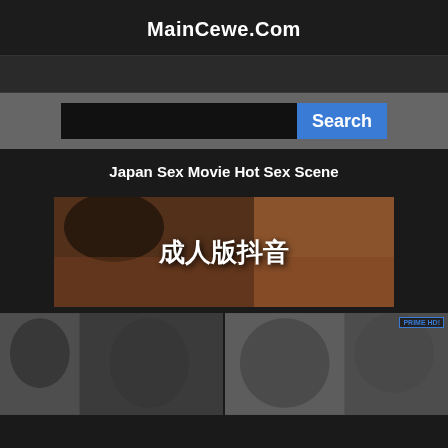MainCewe.Com
[Figure (screenshot): Search bar UI with dark input field and blue Search button on gray background]
Japan Sex Movie Hot Sex Scene
[Figure (photo): Main thumbnail image with Chinese text overlay reading 成人版抖音]
[Figure (photo): Two video thumbnails side by side at the bottom of the page]